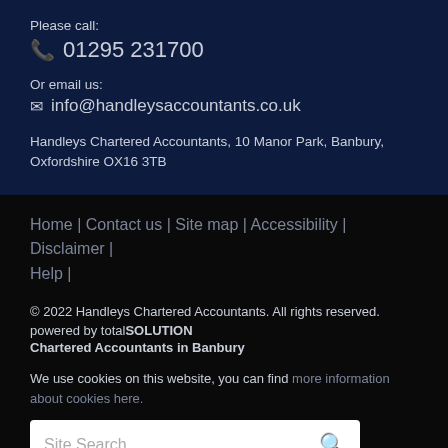Please call:
📞 01295 231700
Or email us:
✉ info@handleysaccountants.co.uk
Handleys Chartered Accountants, 10 Manor Park, Banbury, Oxfordshire OX16 3TB
Home | Contact us | Site map | Accessibility | Disclaimer | Help |
© 2022 Handleys Chartered Accountants. All rights reserved.
powered by totalSOLUTION
Chartered Accountants in Banbury
We use cookies on this website, you can find more information about cookies here.